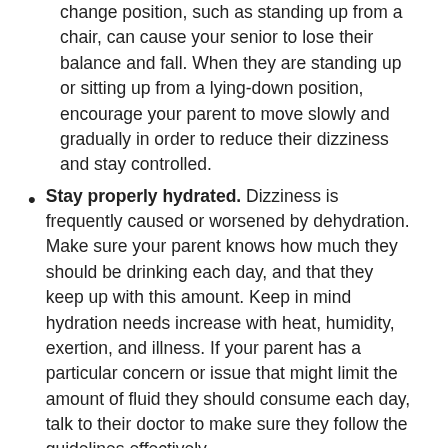change position, such as standing up from a chair, can cause your senior to lose their balance and fall. When they are standing up or sitting up from a lying-down position, encourage your parent to move slowly and gradually in order to reduce their dizziness and stay controlled.
Stay properly hydrated. Dizziness is frequently caused or worsened by dehydration. Make sure your parent knows how much they should be drinking each day, and that they keep up with this amount. Keep in mind hydration needs increase with heat, humidity, exertion, and illness. If your parent has a particular concern or issue that might limit the amount of fluid they should consume each day, talk to their doctor to make sure they follow the guidelines effectively.
Provide support. If your parent experiences dizziness frequently, especially if it comes on